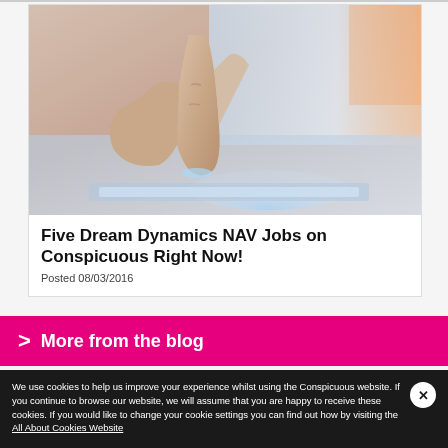[Figure (photo): Close-up photograph of a human finger pointing at or touching a glowing tablet screen]
Five Dream Dynamics NAV Jobs on Conspicuous Right Now!
Posted 08/03/2016
> More from the blog
We use cookies to help us improve your experience whilst using the Conspicuous website. If you continue to browse our website, we will assume that you are happy to receive these cookies. If you would like to change your cookie settings you can find out how by visiting the All About Cookies Website